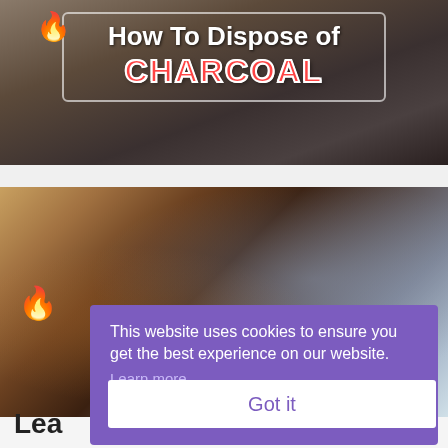[Figure (photo): Banner image with dark background showing 'How To Dispose of CHARCOAL' text in a white-bordered box with flame icon]
How To Dispose of CHARCOAL
[Figure (photo): Outdoor barbecue grill scene showing hands with tools near grill grates, smoke rising, flame visible on left side]
This website uses cookies to ensure you get the best experience on our website.
Learn more
Got it
Lea